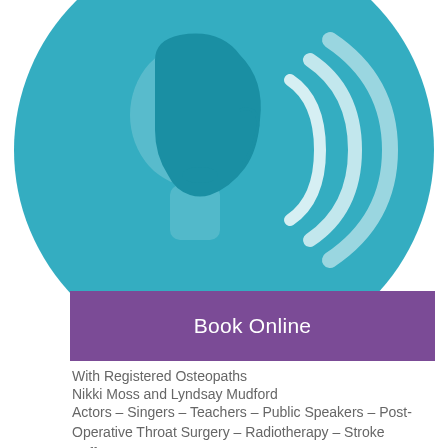[Figure (illustration): Teal/turquoise circular icon showing a side profile of a face/neck with sound waves, representing voice or speech therapy]
Book Online
With Registered Osteopaths
Nikki Moss and Lyndsay Mudford
Actors – Singers – Teachers – Public Speakers – Post-Operative Throat Surgery – Radiotherapy – Stroke Sufferers
Common Voice symptoms
Hoarseness – huskiness – croakiness – breathiness – loss of voice – loss of vocal stamina – loss of volume – loss of pitch range – throat pain or soreness – 'lump in throat' – effort to swallow
These problems can be caused by muscle tension in the vocal tract. This happens when you overuse your voice or